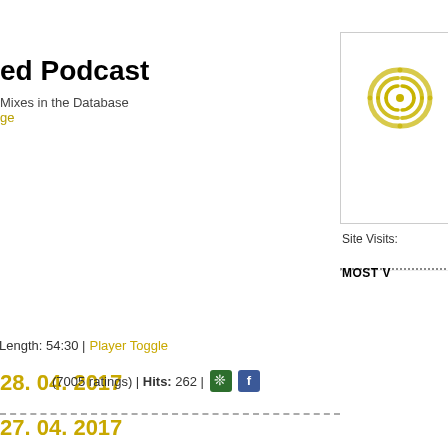ed Podcast
Mixes in the Database
ge
28. 04. 2017
| Length: 54:30 | Player Toggle
(7005 ratings) | Hits: 262 |
27. 04. 2017
[Figure (logo): Circular audio/radio wave logo in gold/yellow tones]
Site Visits:
MOST V
Top 20 i
Top 20 i
Top 20 i
Top 20 i
Top 20 i